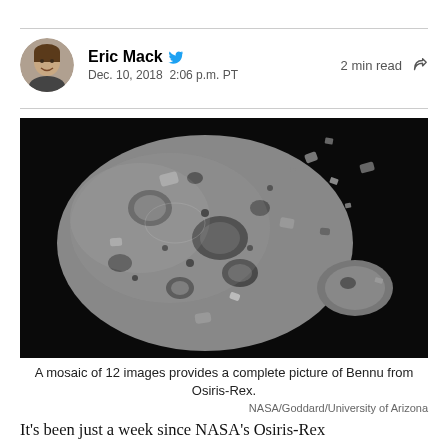Eric Mack · Dec. 10, 2018 2:06 p.m. PT · 2 min read
[Figure (photo): Black and white mosaic image of asteroid Bennu taken by NASA's Osiris-Rex spacecraft, showing a rocky, cratered surface against a black background]
A mosaic of 12 images provides a complete picture of Bennu from Osiris-Rex.
NASA/Goddard/University of Arizona
It's been just a week since NASA's Osiris-Rex